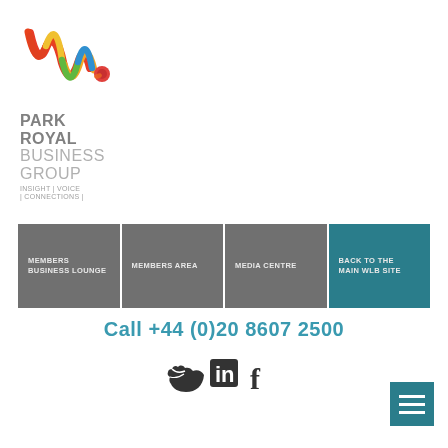[Figure (logo): Park Royal Business Group logo: colourful stylized 'W.' lettering above the text PARK ROYAL BUSINESS GROUP with tagline INSIGHT | VOICE | CONNECTIONS |]
MEMBERS BUSINESS LOUNGE
MEMBERS AREA
MEDIA CENTRE
BACK TO THE MAIN WLB SITE
Call +44 (0)20 8607 2500
[Figure (other): Social media icons: Twitter bird, LinkedIn 'in', Facebook 'f']
[Figure (other): Hamburger menu button (three horizontal lines) in teal square, bottom right]